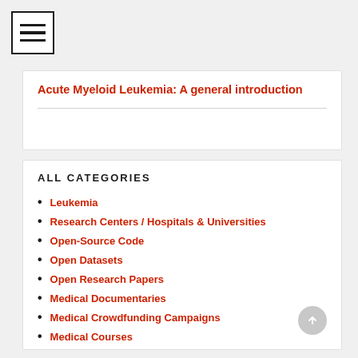[Figure (other): Hamburger menu icon — three horizontal bars inside a square border]
Acute Myeloid Leukemia: A general introduction
ALL CATEGORIES
Leukemia
Research Centers / Hospitals & Universities
Open-Source Code
Open Datasets
Open Research Papers
Medical Documentaries
Medical Crowdfunding Campaigns
Medical Courses